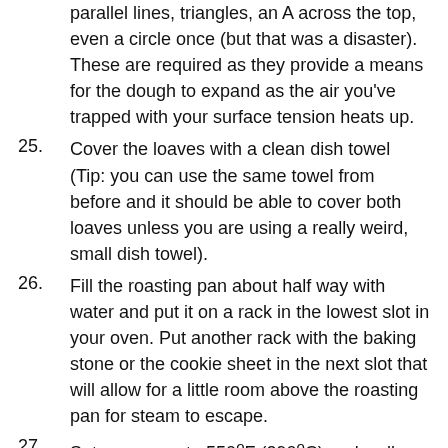(continuation) parallel lines, triangles, an A across the top, even a circle once (but that was a disaster). These are required as they provide a means for the dough to expand as the air you've trapped with your surface tension heats up.
25. Cover the loaves with a clean dish towel (Tip: you can use the same towel from before and it should be able to cover both loaves unless you are using a really weird, small dish towel).
26. Fill the roasting pan about half way with water and put it on a rack in the lowest slot in your oven. Put another rack with the baking stone or the cookie sheet in the next slot that will allow for a little room above the roasting pan for steam to escape.
27. Set your oven to 550ºF (290ºC) and walk away.
28. When your oven hits the target temperature, sprinkle some beer flour on the peel or rimless baking sheet